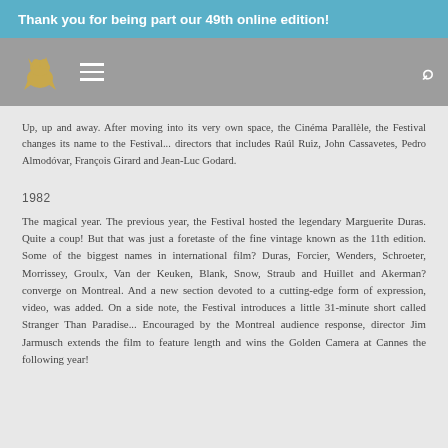Thank you for being part our 49th online edition!
Up, up and away. After moving into its very own space, the Cinéma Parallèle, the Festival changes its name to the Festival... directors that includes Raúl Ruiz, John Cassavetes, Pedro Almodóvar, François Girard and Jean-Luc Godard.
1982
The magical year. The previous year, the Festival hosted the legendary Marguerite Duras. Quite a coup! But that was just a foretaste of the fine vintage known as the 11th edition. Some of the biggest names in international film? Duras, Forcier, Wenders, Schroeter, Morrissey, Groulx, Van der Keuken, Blank, Snow, Straub and Huillet and Akerman? converge on Montreal. And a new section devoted to a cutting-edge form of expression, video, was added. On a side note, the Festival introduces a little 31-minute short called Stranger Than Paradise... Encouraged by the Montreal audience response, director Jim Jarmusch extends the film to feature length and wins the Golden Camera at Cannes the following year!